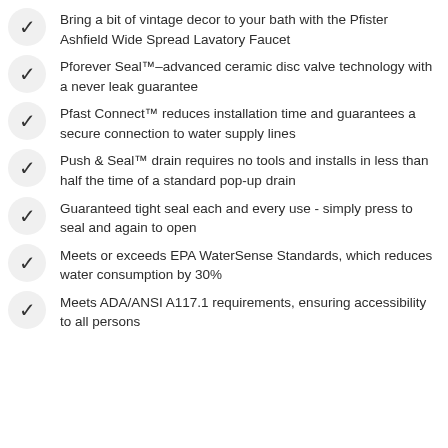Bring a bit of vintage decor to your bath with the Pfister Ashfield Wide Spread Lavatory Faucet
Pforever Seal™–advanced ceramic disc valve technology with a never leak guarantee
Pfast Connect™ reduces installation time and guarantees a secure connection to water supply lines
Push & Seal™ drain requires no tools and installs in less than half the time of a standard pop-up drain
Guaranteed tight seal each and every use - simply press to seal and again to open
Meets or exceeds EPA WaterSense Standards, which reduces water consumption by 30%
Meets ADA/ANSI A117.1 requirements, ensuring accessibility to all persons